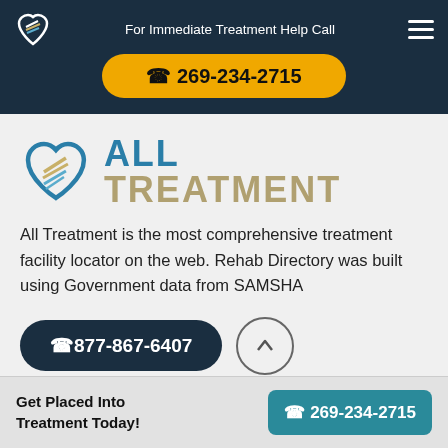For Immediate Treatment Help Call
269-234-2715
[Figure (logo): All Treatment logo with teal and gold heart icon and text ALL TREATMENT]
All Treatment is the most comprehensive treatment facility locator on the web. Rehab Directory was built using Government data from SAMSHA
877-867-6407
Get Placed Into Treatment Today!
269-234-2715